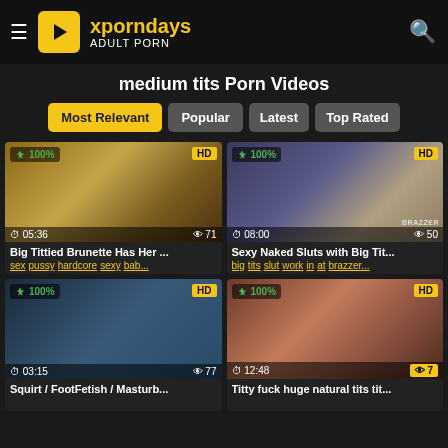xporndays ADULT PORN
medium tits Porn Videos
Most Relevant | Popular | Latest | Top Rated
[Figure (screenshot): Video thumbnail 1: 100% HD, duration 05:36, views 71, title Big Tittied Brunette Has Her ..., tags: sex pussy hardcore sexy bab...]
[Figure (screenshot): Video thumbnail 2: 100% HD, duration 08:00, views 50, Brazzers watermark, title Sexy Naked Sluts with Big Tit..., tags: big tits slut work in at brazzer...]
[Figure (screenshot): Video thumbnail 3: 100% HD, duration 03:15, views 77, title Squirt / FootFetish / Masturb...]
[Figure (screenshot): Video thumbnail 4: 100% HD, duration 12:48, views 7, title Titty fuck huge natural tits tit...]